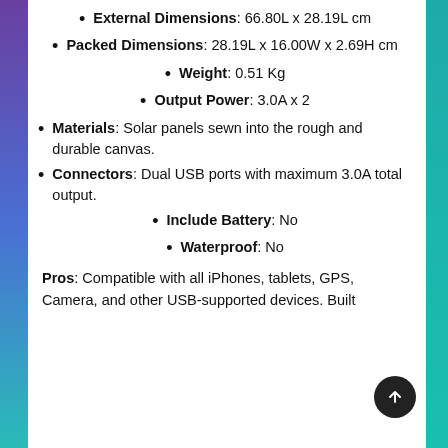External Dimensions: 66.80L x 28.19L cm
Packed Dimensions: 28.19L x 16.00W x 2.69H cm
Weight: 0.51 Kg
Output Power: 3.0A x 2
Materials: Solar panels sewn into the rough and durable canvas.
Connectors: Dual USB ports with maximum 3.0A total output.
Include Battery: No
Waterproof: No
Pros: Compatible with all iPhones, tablets, GPS, Camera, and other USB-supported devices. Built